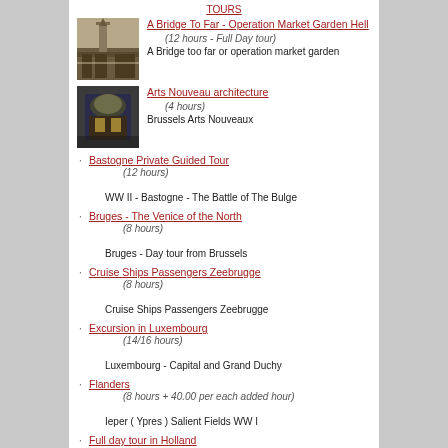TOURS
A Bridge To Far - Operation Market Garden Hell
(12 hours - Full Day tour)
A Bridge too far or operation market garden
Arts Nouveau architecture
(4 hours)
Brussels Arts Nouveaux
Bastogne Private Guided Tour
(12 hours)
WW II - Bastogne - The Battle of The Bulge
Bruges - The Venice of the North
(8 hours)
Bruges - Day tour from Brussels
Cruise Ships Passengers Zeebrugge
(8 hours)
Cruise Ships Passengers Zeebrugge
Excursion in Luxembourg
(14/16 hours)
Luxembourg - Capital and Grand Duchy
Flanders
(8 hours + 40.00 per each added hour)
Ieper ( Ypres ) Salient Fields WW I
Full day tour in Holland
(1 full day tour (Extra days tour on request))
Amsterdam - Kinderdijk - Delft - Netherlands